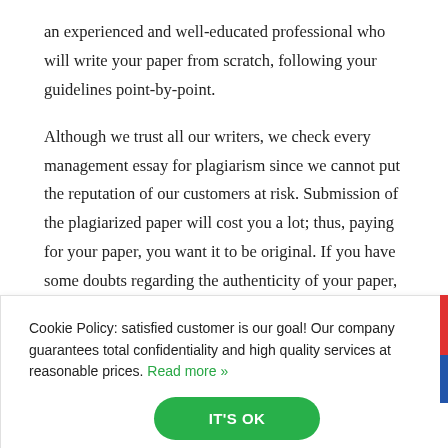an experienced and well-educated professional who will write your paper from scratch, following your guidelines point-by-point.
Although we trust all our writers, we check every management essay for plagiarism since we cannot put the reputation of our customers at risk. Submission of the plagiarized paper will cost you a lot; thus, paying for your paper, you want it to be original. If you have some doubts regarding the authenticity of your paper, we will provide you with a plagiarism report.
Cookie Policy: satisfied customer is our goal! Our company guarantees total confidentiality and high quality services at reasonable prices. Read more »
IT'S OK
guidelines and meets high academic standards. We want you to